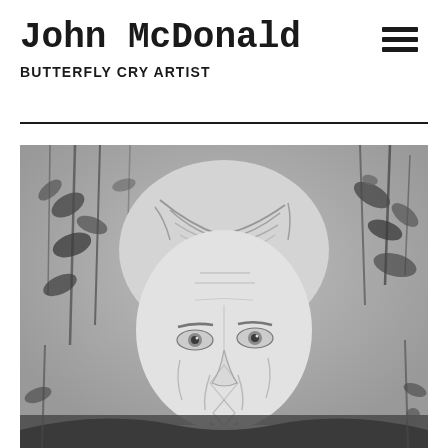John McDonald
BUTTERFLY CRY ARTIST
[Figure (illustration): Black and white portrait painting of an elderly person with short white/grey hair, wrinkled face with geometric line details, surrounded by botanical plant stems and leaves in the background. The style is detailed pencil or graphite artwork.]